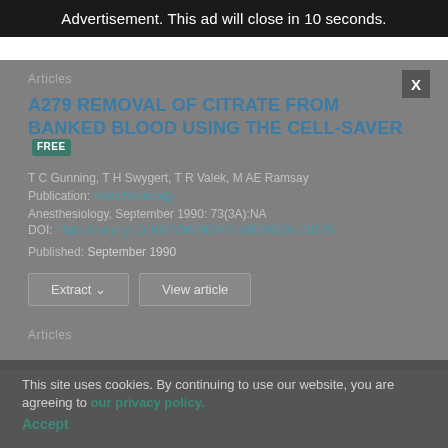Advertisement. This ad will close in 10 seconds.
Articles
A279 REMOVAL OF CITRATE FROM BANKED BLOOD USING THE CELL-SAVER
T C Gunning, T H Swygert, T R Valek, M AE Ramsay
Publication: Anesthesiology
Anesthesiology, September 1990: 73(3A):NA
DOI: https://doi.org/10.1097/00000542-199009001-00275
Published: September 1990
Articles
This site uses cookies. By continuing to use our website, you are agreeing to our privacy policy. Accept